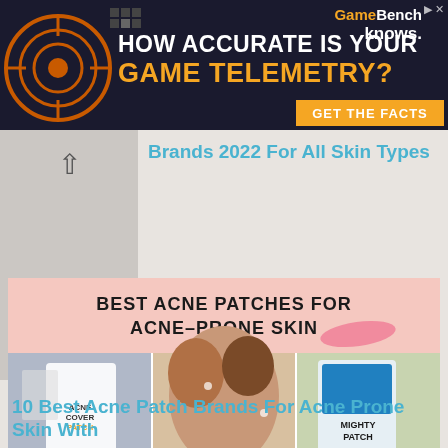[Figure (screenshot): Advertisement banner for GameBench. Dark background with orange circular target graphic on the left, text 'HOW ACCURATE IS YOUR GAME TELEMETRY?' in white and orange, GameBench logo on right, and 'GET THE FACTS' orange button.]
Brands 2022 For All Skin Types
[Figure (photo): Promotional image for best acne patches. Pink and light background with text 'BEST ACNE PATCHES FOR ACNE-PRONE SKIN' in bold black. Three panel photo showing: left panel - Acne Cover Patch product packaging, center panel - three smiling women with acne patches on skin, right panel - Mighty Patch product packaging on sage green background.]
10 Best Acne Patch Brands For Acne Prone Skin With